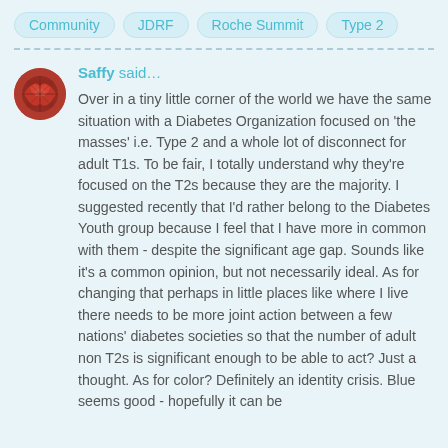Community  JDRF  Roche Summit  Type 2
Saffy said…
Over in a tiny little corner of the world we have the same situation with a Diabetes Organization focused on 'the masses' i.e. Type 2 and a whole lot of disconnect for adult T1s. To be fair, I totally understand why they're focused on the T2s because they are the majority. I suggested recently that I'd rather belong to the Diabetes Youth group because I feel that I have more in common with them - despite the significant age gap. Sounds like it's a common opinion, but not necessarily ideal. As for changing that perhaps in little places like where I live there needs to be more joint action between a few nations' diabetes societies so that the number of adult non T2s is significant enough to be able to act? Just a thought. As for color? Definitely an identity crisis. Blue seems good - hopefully it can be